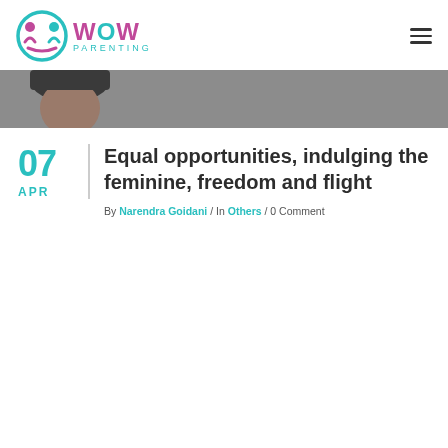WOW Parenting
[Figure (photo): Partial view of a person's head/face in a gray banner]
Equal opportunities, indulging the feminine, freedom and flight
By Narendra Goidani / In Others / 0 Comment